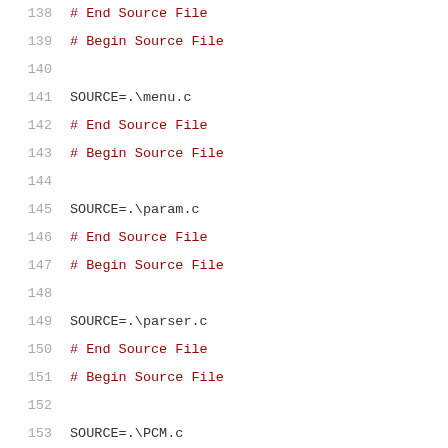138  # End Source File
139  # Begin Source File
140
141  SOURCE=.\menu.c
142  # End Source File
143  # Begin Source File
144
145  SOURCE=.\param.c
146  # End Source File
147  # Begin Source File
148
149  SOURCE=.\parser.c
150  # End Source File
151  # Begin Source File
152
153  SOURCE=.\PCM.c
154  # End Source File
155  # Begin Source File
156
157  SOURCE=.\per_frame_eqn.c
158  # End Source File
159  # Begin Source File